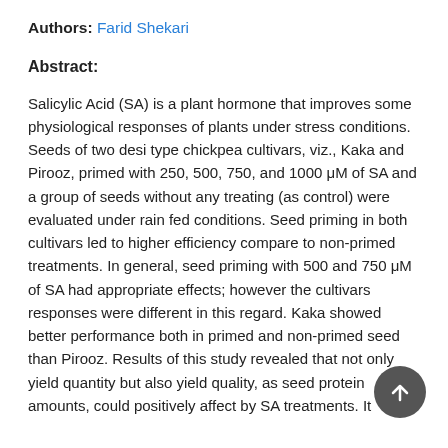Authors: Farid Shekari
Abstract:
Salicylic Acid (SA) is a plant hormone that improves some physiological responses of plants under stress conditions. Seeds of two desi type chickpea cultivars, viz., Kaka and Pirooz, primed with 250, 500, 750, and 1000 μM of SA and a group of seeds without any treating (as control) were evaluated under rain fed conditions. Seed priming in both cultivars led to higher efficiency compare to non-primed treatments. In general, seed priming with 500 and 750 μM of SA had appropriate effects; however the cultivars responses were different in this regard. Kaka showed better performance both in primed and non-primed seed than Pirooz. Results of this study revealed that not only yield quantity but also yield quality, as seed protein amounts, could positively affect by SA treatments. It